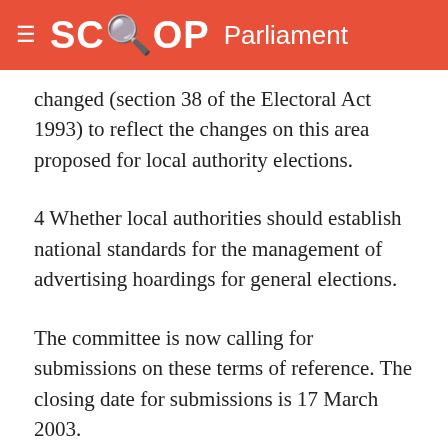SCOOP Parliament
changed (section 38 of the Electoral Act 1993) to reflect the changes on this area proposed for local authority elections.
4 Whether local authorities should establish national standards for the management of advertising hoardings for general elections.
The committee is now calling for submissions on these terms of reference. The closing date for submissions is 17 March 2003.
On Tuesday the House referred to the committee the Supreme Court Bill. The Government's stated public